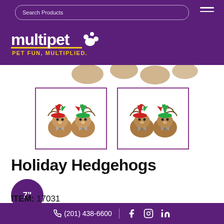Search Products
[Figure (logo): Multipet logo with text 'PET FUN, MULTIPLIED.' on purple background]
[Figure (photo): Two product thumbnail images showing pairs of plush holiday hedgehogs wearing Santa hats]
Holiday Hedgehogs
7"
ITEM: 17031
(201) 438-6600